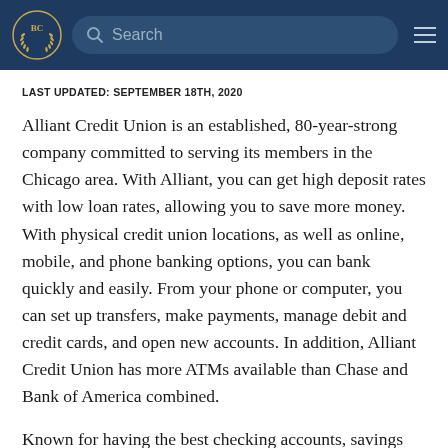BC [logo] Search [hamburger menu]
LAST UPDATED: SEPTEMBER 18TH, 2020
Alliant Credit Union is an established, 80-year-strong company committed to serving its members in the Chicago area. With Alliant, you can get high deposit rates with low loan rates, allowing you to save more money. With physical credit union locations, as well as online, mobile, and phone banking options, you can bank quickly and easily. From your phone or computer, you can set up transfers, make payments, manage debit and credit cards, and open new accounts. In addition, Alliant Credit Union has more ATMs available than Chase and Bank of America combined.
Known for having the best checking accounts, savings accounts, and mobile banking services, Alliant Credit Union is...